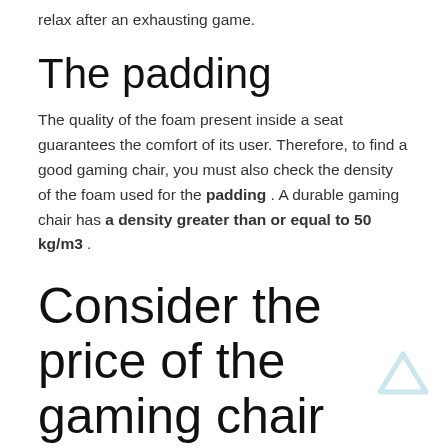relax after an exhausting game.
The padding
The quality of the foam present inside a seat guarantees the comfort of its user. Therefore, to find a good gaming chair, you must also check the density of the foam used for the padding . A durable gaming chair has a density greater than or equal to 50 kg/m3 .
Consider the price of the gaming chair
It is important to determine your height and weight before any acquisition. The spacious and resistant seats offer